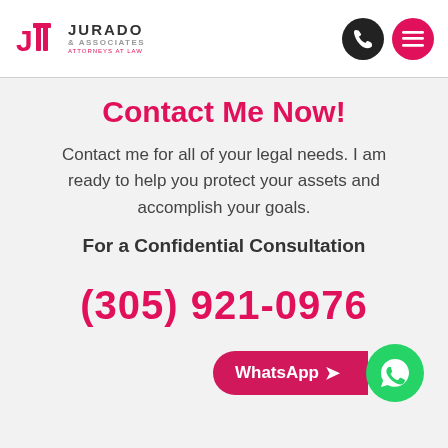[Figure (logo): Jurado & Associates Attorneys at Law logo with phone and menu icons in header]
Contact Me Now!
Contact me for all of your legal needs. I am ready to help you protect your assets and accomplish your goals.
For a Confidential Consultation
(305) 921-0976
[Figure (other): WhatsApp button with arrow and green WhatsApp icon]